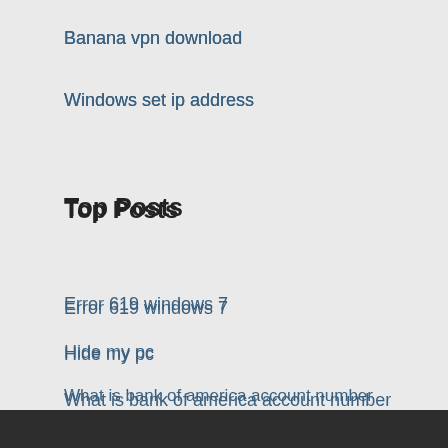Banana vpn download
Windows set ip address
Top Posts
Error 619 windows 7
Hide my pc
What is bank of america account number
Web proxy canada
Live streaming football barcelona vs real madrid